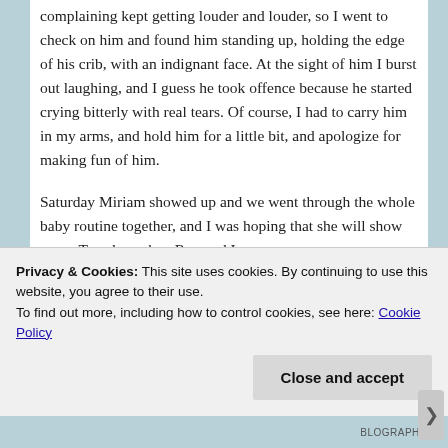but he wasn't ready to go to sleep yet, and his complaining kept getting louder and louder, so I went to check on him and found him standing up, holding the edge of his crib, with an indignant face. At the sight of him I burst out laughing, and I guess he took offence because he started crying bitterly with real tears. Of course, I had to carry him in my arms, and hold him for a little bit, and apologize for making fun of him.
Saturday Miriam showed up and we went through the whole baby routine together, and I was hoping that she will show up on Tuesday, when Ron and I
Privacy & Cookies: This site uses cookies. By continuing to use this website, you agree to their use.
To find out more, including how to control cookies, see here: Cookie Policy